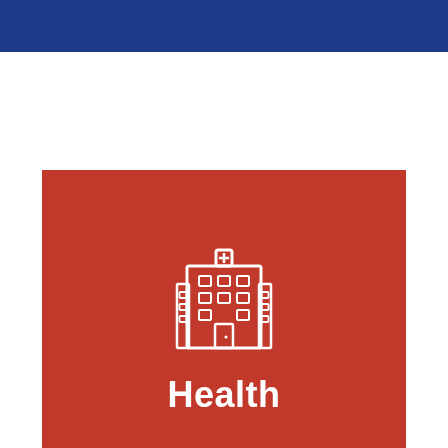[Figure (illustration): Hospital building icon (white line art) with a cross on top, windows, and entrance door]
Health
We have worked with local health authorities across Australia and New Zealand, including 7 Hospital and Healthcare Services in Queensland, 6 Local Health Districts in NSW, 12